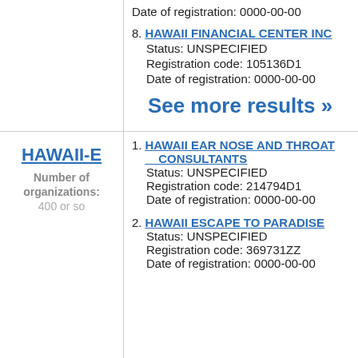Date of registration: 0000-00-00
8. HAWAII FINANCIAL CENTER INC
Status: UNSPECIFIED
Registration code: 105136D1
Date of registration: 0000-00-00
See more results »
HAWAII-E
Number of organizations:
400 or so
1. HAWAII EAR NOSE AND THROAT CONSULTANTS
Status: UNSPECIFIED
Registration code: 214794D1
Date of registration: 0000-00-00
2. HAWAII ESCAPE TO PARADISE
Status: UNSPECIFIED
Registration code: 369731ZZ
Date of registration: 0000-00-00